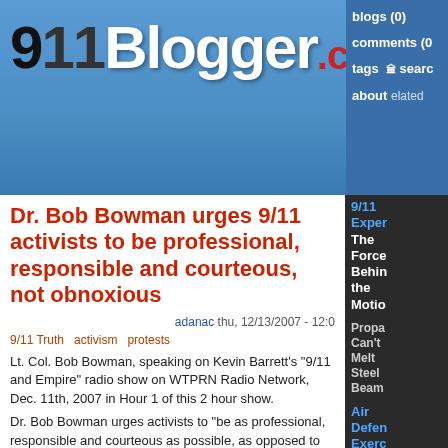[Figure (screenshot): 911Blogger.com website header with logo showing '911 Blogger.com' text on blue gradient background, and right navigation showing blogs(0), comments(0), tags, search, about, related]
Dr. Bob Bowman urges 9/11 activists to be professional, responsible and courteous, not obnoxious
adanac thu, 12/13/2007 - 12:0
9/11 Truth   activism   protests
Lt. Col. Bob Bowman, speaking on Kevin Barrett's "9/11 and Empire" radio show on WTPRN Radio Network, Dec. 11th, 2007 in Hour 1 of this 2 hour show.
Dr. Bob Bowman urges activists to "be as professional, responsible and courteous as possible, as opposed to obnoxious, if we're going to make more inroads!"
Partial transcript follows.
Kevin Barrett:
"The last time you were on the show, we talked about, the question of, how to get up in the faces of people in public, to raise the issues of 9/11 (and they are being suppressed everywhere) and since then, there have been all sorts of these events in which
9/11 Exper The Force Behin the Motio
Propa Can't Melt Steel Beam
Air Defen Exerc a Month